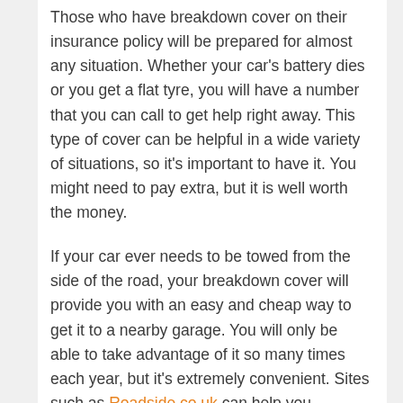Those who have breakdown cover on their insurance policy will be prepared for almost any situation. Whether your car's battery dies or you get a flat tyre, you will have a number that you can call to get help right away. This type of cover can be helpful in a wide variety of situations, so it's important to have it. You might need to pay extra, but it is well worth the money.
If your car ever needs to be towed from the side of the road, your breakdown cover will provide you with an easy and cheap way to get it to a nearby garage. You will only be able to take advantage of it so many times each year, but it's extremely convenient. Sites such as Roadside.co.uk can help you compare breakdown cover policies at the click of a